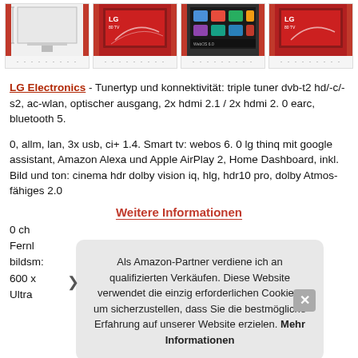[Figure (photo): Four thumbnail images of LG 80 TV from different angles, showing the TV with red floral background and product views]
LG Electronics - Tunertyp und konnektivität: triple tuner dvb-t2 hd/-c/-s2, ac-wlan, optischer ausgang, 2x hdmi 2.1 / 2x hdmi 2. 0 earc, bluetooth 5.
0, allm, lan, 3x usb, ci+ 1.4. Smart tv: webos 6. 0 lg thinq mit google assistant, Amazon Alexa und Apple AirPlay 2, Home Dashboard, inkl. Bild und ton: cinema hdr dolby vision iq, hlg, hdr10 pro, dolby Atmos-fähiges 2.0
Weitere Informationen
0 ch ... Fernb... bilds... 600 x... Ultra...
Als Amazon-Partner verdiene ich an qualifizierten Verkäufen. Diese Website verwendet die einzig erforderlichen Cookies, um sicherzustellen, dass Sie die bestmögliche Erfahrung auf unserer Website erzielen. Mehr Informationen